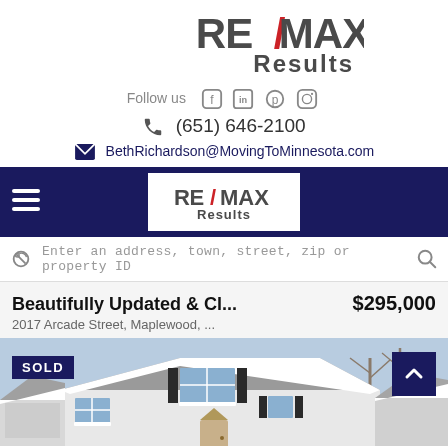[Figure (logo): RE/MAX Results logo in dark gray with red slash]
Follow us [Facebook] [LinkedIn] [Pinterest] [Instagram]
☎ (651) 646-2100
✉ BethRichardson@MovingToMinnesota.com
[Figure (logo): RE/MAX Results logo on white box inside navy navigation bar with hamburger menu]
Enter an address, town, street, zip or property ID
Beautifully Updated & Cl...
$295,000
2017 Arcade Street, Maplewood, ...
[Figure (photo): Photo of a white suburban house in winter with snow on the roof, a SOLD badge overlay in the bottom-left corner]